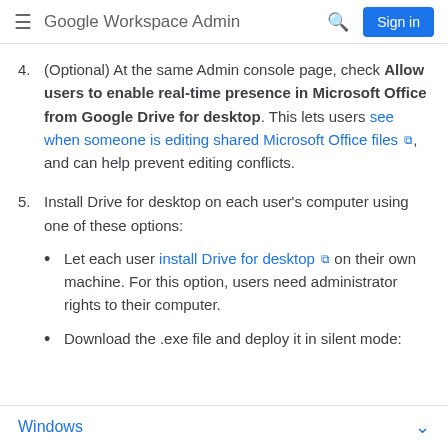Google Workspace Admin
(Optional) At the same Admin console page, check Allow users to enable real-time presence in Microsoft Office from Google Drive for desktop. This lets users see when someone is editing shared Microsoft Office files, and can help prevent editing conflicts.
Install Drive for desktop on each user's computer using one of these options:
Let each user install Drive for desktop on their own machine. For this option, users need administrator rights to their computer.
Download the .exe file and deploy it in silent mode:
Windows